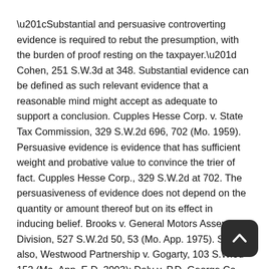“Substantial and persuasive controverting evidence is required to rebut the presumption, with the burden of proof resting on the taxpayer.” Cohen, 251 S.W.3d at 348. Substantial evidence can be defined as such relevant evidence that a reasonable mind might accept as adequate to support a conclusion. Cupples Hesse Corp. v. State Tax Commission, 329 S.W.2d 696, 702 (Mo. 1959). Persuasive evidence is evidence that has sufficient weight and probative value to convince the trier of fact. Cupples Hesse Corp., 329 S.W.2d at 702. The persuasiveness of evidence does not depend on the quantity or amount thereof but on its effect in inducing belief. Brooks v. General Motors Assembly Division, 527 S.W.2d 50, 53 (Mo. App. 1975). See also, Westwood Partnership v. Gogarty, 103 S.W.3d 152 (Mo. App. E.D. 2003); Daly v. P.D. George Co., 77 S.W.3d 645 (Mo. App E.D. 2002); Reeves v. Snider, 115 S.W.3d 375 (Mo. App. S.D. 2003).
Overvaluation
To obtain a reduction in assessed valuation based upon alleged